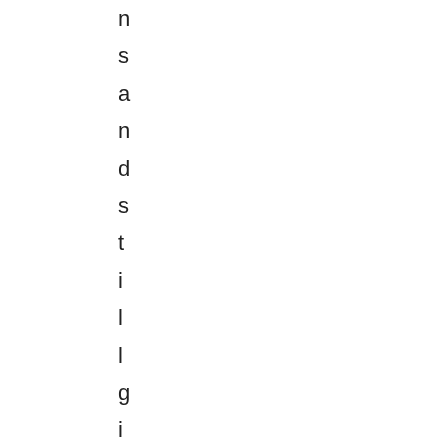n
s
a
n
d
s
t
i
l
l
g
i
v
e
b
r
a
n
d
a
w
a